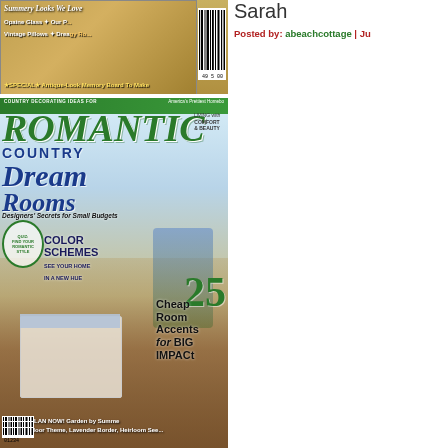[Figure (photo): Top magazine cover strip - summery looks, stained glass, pillows]
[Figure (photo): Romantic Country magazine cover featuring Dream Rooms with blue bedroom scene]
[Figure (photo): Romantic Country magazine Holiday Home Showcase cover]
Sarah
Posted by: abeachcottage | Ju
[Figure (illustration): Blue geometric avatar icon]
Hi Kim,

You are so adorable inspiring blog.

Hugs,
LeAnn:)
Posted by: LeAnn | June 16, 2
[Figure (illustration): Blue geometric avatar icon]
Lovely sunshine stre
Posted by: Rosy | June 16, 200
[Figure (illustration): Pink floral/geometric avatar icon]
I love visiting your b I read it on Houzz. I' neighbors??
Posted by: Lisa K in FL | June